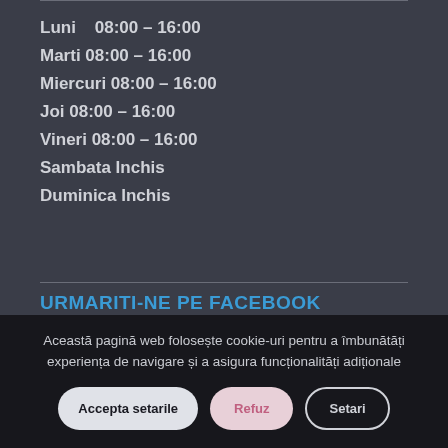Luni    08:00 – 16:00
Marti 08:00 – 16:00
Miercuri 08:00 – 16:00
Joi 08:00 – 16:00
Vineri 08:00 – 16:00
Sambata Inchis
Duminica Inchis
URMARITI-NE PE FACEBOOK
Această pagină web folosește cookie-uri pentru a îmbunătăți experiența de navigare și a asigura funcționalități adiționale
Accepta setarile   Refuz   Setari